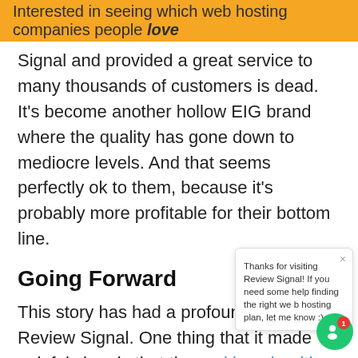Interested in seeing which web hosting companies people love
Signal and provided a great service to many thousands of customers is dead. It's become another hollow EIG brand where the quality has gone down to mediocre levels. And that seems perfectly ok to them, because it's probably more profitable for their bottom line.
Going Forward
This story has had a profound impact on Review Signal. One thing that it made painful clear is that the ranking algorithm needs its first update since inception. The current ranking